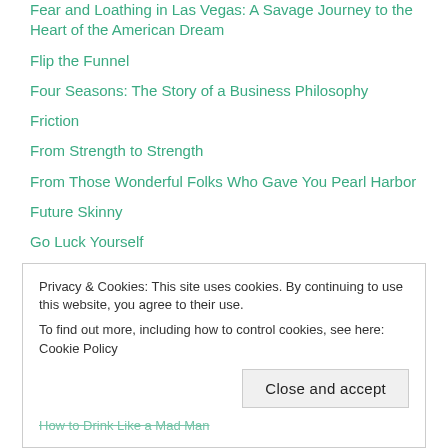Fear and Loathing in Las Vegas: A Savage Journey to the Heart of the American Dream
Flip the Funnel
Four Seasons: The Story of a Business Philosophy
Friction
From Strength to Strength
From Those Wonderful Folks Who Gave You Pearl Harbor
Future Skinny
Go Luck Yourself
Good to Great
Hamilton
Hannibal and Me
Happywork
How to Drink Like a Mad Man
Privacy & Cookies: This site uses cookies. By continuing to use this website, you agree to their use. To find out more, including how to control cookies, see here: Cookie Policy
Close and accept